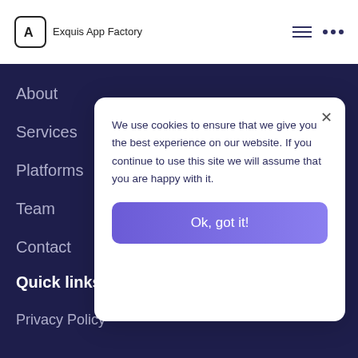Exquis App Factory
About
Services
Platforms
Team
Contact
Quick links
Privacy Policy
We use cookies to ensure that we give you the best experience on our website. If you continue to use this site we will assume that you are happy with it.
Ok, got it!